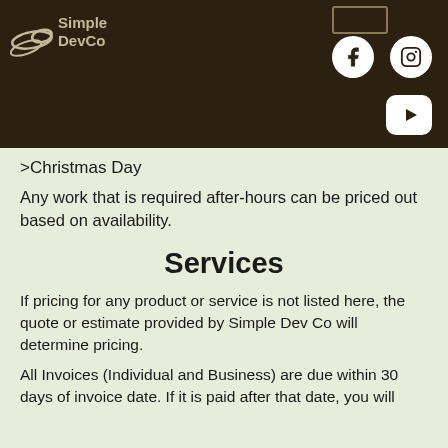[Figure (logo): Simple DevCo logo with hand/bird icon and text 'Simple DevCo' in white on dark brown background]
[Figure (infographic): Social media icons: Facebook circle, Instagram circle, YouTube rounded rectangle — white on dark brown background]
>Christmas Day
Any work that is required after-hours can be priced out based on availability.
Services
If pricing for any product or service is not listed here, the quote or estimate provided by Simple Dev Co will determine pricing.
All Invoices (Individual and Business) are due within 30 days of invoice date. If it is paid after that date, you will